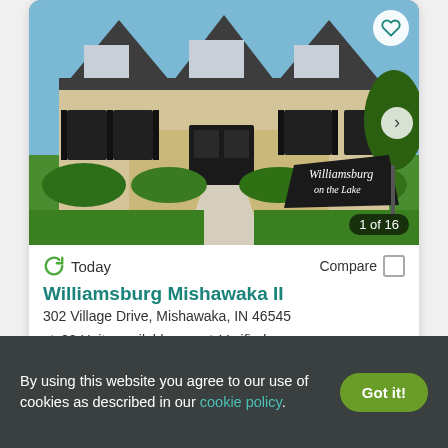[Figure (photo): Exterior photo of Williamsburg on the Lake apartment community showing brick townhome buildings with dormers, manicured landscaping, and a property sign reading 'Williamsburg on the Lake'. Photo counter shows '1 of 16'.]
Today
Compare
Williamsburg Mishawaka II
302 Village Drive, Mishawaka, IN 46545
20 Units available
Verified
By using this website you agree to our use of cookies as described in our cookie policy.